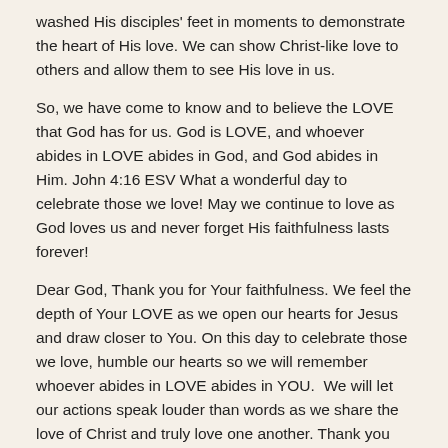washed His disciples' feet in moments to demonstrate the heart of His love. We can show Christ-like love to others and allow them to see His love in us.
So, we have come to know and to believe the LOVE that God has for us. God is LOVE, and whoever abides in LOVE abides in God, and God abides in Him. John 4:16 ESV What a wonderful day to celebrate those we love! May we continue to love as God loves us and never forget His faithfulness lasts forever!
Dear God, Thank you for Your faithfulness. We feel the depth of Your LOVE as we open our hearts for Jesus and draw closer to You. On this day to celebrate those we love, humble our hearts so we will remember whoever abides in LOVE abides in YOU.  We will let our actions speak louder than words as we share the love of Christ and truly love one another. Thank you for the amazing LOVE You have for each one of us. We are blessed! We are grateful! Thank you, Lord! Oh, how we LOVE YOU WITH ALL OF OUR HEARTS. ♥